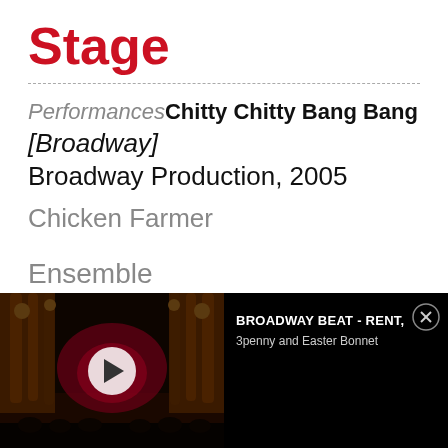Stage
Performances Chitty Chitty Bang Bang [Broadway] Broadway Production, 2005
Chicken Farmer
Ensemble
[Figure (screenshot): Theater stage with red curtains and dark lighting, with a video play button overlay]
BROADWAY BEAT - RENT, 3penny and Easter Bonnet